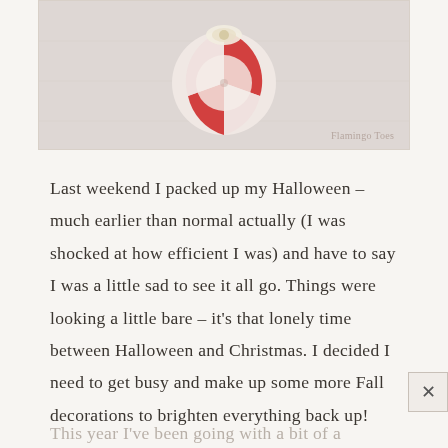[Figure (photo): A decorative peppermint candy / fabric yo-yo ornament with red and white stripes and a lace or cream ribbon accent, photographed on a light gray/white background. Watermark reads 'Flamingo Toes' in bottom right corner.]
Last weekend I packed up my Halloween – much earlier than normal actually (I was shocked at how efficient I was) and have to say I was a little sad to see it all go. Things were looking a little bare – it's that lonely time between Halloween and Christmas. I decided I need to get busy and make up some more Fall decorations to brighten everything back up!
This year I've been going with a bit of a